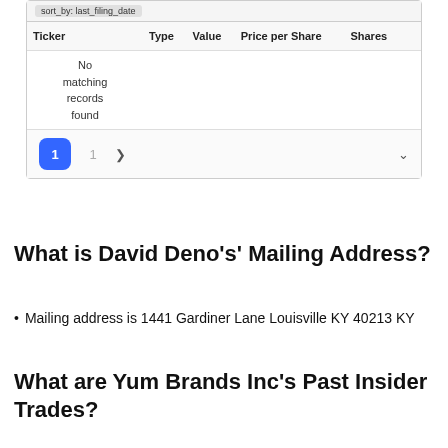| Ticker | Type | Value | Price per Share | Shares |
| --- | --- | --- | --- | --- |
| No matching records found |  |  |  |  |
What is David Deno's' Mailing Address?
Mailing address is 1441 Gardiner Lane Louisville KY 40213 KY
What are Yum Brands Inc's Past Insider Trades?